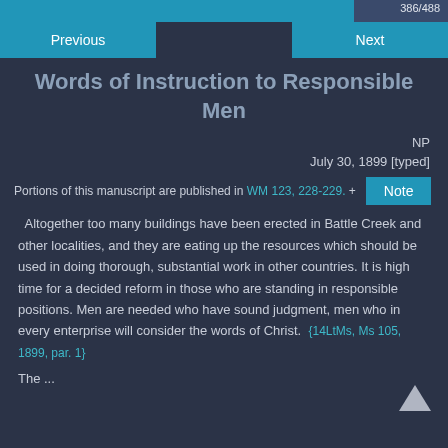386/488
Previous | Next
Words of Instruction to Responsible Men
NP
July 30, 1899 [typed]
Portions of this manuscript are published in WM 123, 228-229. + Note
Altogether too many buildings have been erected in Battle Creek and other localities, and they are eating up the resources which should be used in doing thorough, substantial work in other countries. It is high time for a decided reform in those who are standing in responsible positions. Men are needed who have sound judgment, men who in every enterprise will consider the words of Christ. {14LtMs, Ms 105, 1899, par. 1}
The...